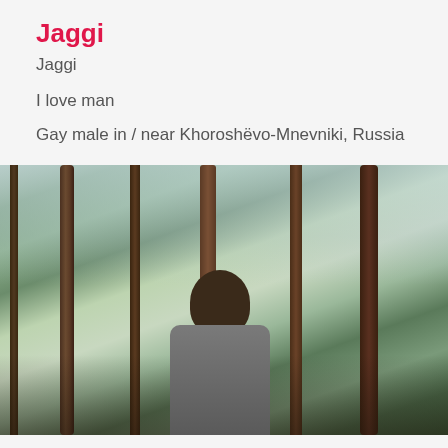Jaggi
Jaggi
I love man
Gay male in / near Khoroshëvo-Mnevniki, Russia
[Figure (photo): A man looking upward in a forest with tall trees and dappled light]